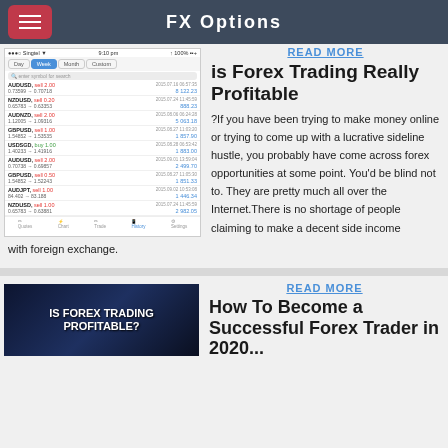FX Options
[Figure (screenshot): Mobile trading app screenshot showing forex trades: AUDUSD sell 2.00, NZDUSD sell 0.20, AUDNZD sell 2.00, GBPUSD sell 1.00, USDSGD buy 1.00, AUDUSD sell 2.00, GBPUSD sell 0.50, AUDJPY sell 1.00, NZDUSD sell 1.00]
READ MORE
is Forex Trading Really Profitable
?If you have been trying to make money online or trying to come up with a lucrative sideline hustle, you probably have come across forex opportunities at some point. You'd be blind not to. They are pretty much all over the Internet.There is no shortage of people claiming to make a decent side income with foreign exchange.
[Figure (photo): Dark background image with text IS FOREX TRADING PROFITABLE? with chart/graph lines visible]
READ MORE
How To Become a Successful Forex Trader in 2020